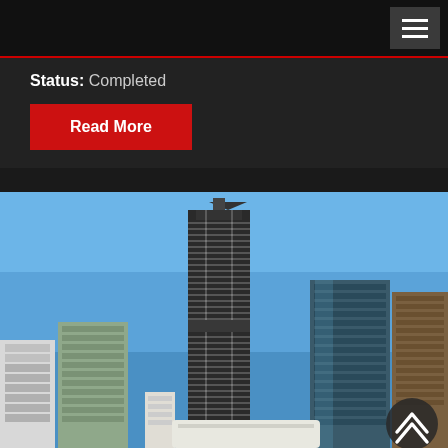Navigation bar with hamburger menu icon
Status:   Completed
Read More
[Figure (photo): Cityscape photograph showing tall modern skyscrapers against a clear blue sky. A prominent dark-colored high-rise tower dominates the center, with other commercial buildings visible to the left and right. A circular scroll-up navigation button is overlaid in the bottom-right corner.]